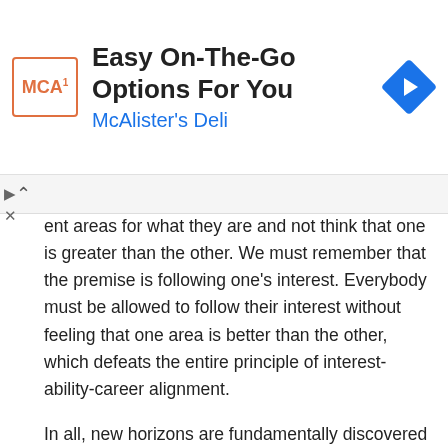[Figure (other): Advertisement banner for McAlister's Deli with logo, title 'Easy On-The-Go Options For You', subtitle 'McAlister's Deli', and a blue navigation arrow icon]
ent areas for what they are and not think that one is greater than the other. We must remember that the premise is following one's interest. Everybody must be allowed to follow their interest without feeling that one area is better than the other, which defeats the entire principle of interest-ability-career alignment.
In all, new horizons are fundamentally discovered if people in professional fields pay attention to grow along with their innate abilities and interests as these are what really make the difference for a profession in the long run.
So, which of these scientists are you?